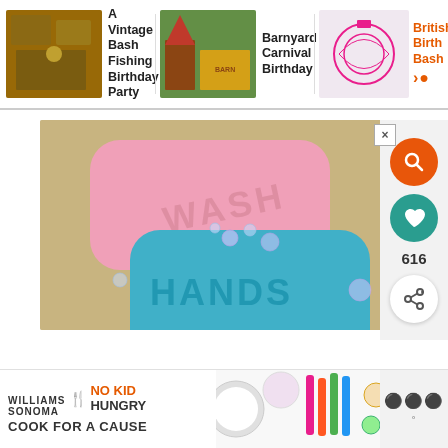[Figure (screenshot): Website navigation bar with three items: A Vintage Bash Fishing Birthday Party, Barnyard Carnival Birthday, and British Birthday Bash with search icon]
[Figure (photo): Advertisement showing two bars of soap — a pink one labeled WASH and a blue-teal one labeled HANDS, surrounded by soap bubbles on a tan background, with an X close button]
[Figure (screenshot): Right sidebar with orange search button, teal heart/favorite button showing count 616, and white share button]
[Figure (screenshot): Bottom banner advertisement: Williams Sonoma No Kid Hungry Cook For A Cause with decorative baking images and MM logo]